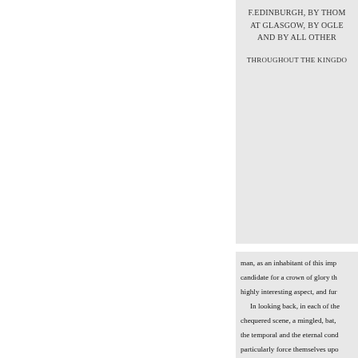F.EDINBURGH, BY THOM AT GLASGOW, BY OGLE AND BY ALL OTHER THROUGHOUT THE KINGDO
man, as an inhabitant of this imp candidate for a crown of glory th highly interesting aspect, and fur In looking back, in each of the chequered scene, a mingled, bat, the temporal and the eternal cond particularly force themselves upo CARISTIANITY. To our view, th reciprocal bearings. Now, what i ? If we look to the continent of E